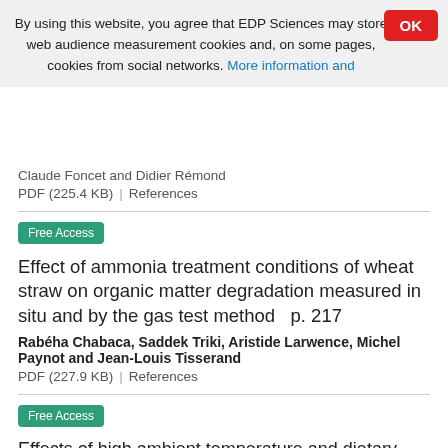By using this website, you agree that EDP Sciences may store web audience measurement cookies and, on some pages, cookies from social networks. More information and
Claude Foncet and Didier Rémond
PDF (225.4 KB)  References
Free Access
Effect of ammonia treatment conditions of wheat straw on organic matter degradation measured in situ and by the gas test method  p. 217
Rabéha Chabaca, Saddek Triki, Aristide Larwence, Michel Paynot and Jean-Louis Tisserand
PDF (227.9 KB)  References
Free Access
Effects of high ambient temperature and dietary protein level on feeding behavior of multiparous lactating sows  p. 227